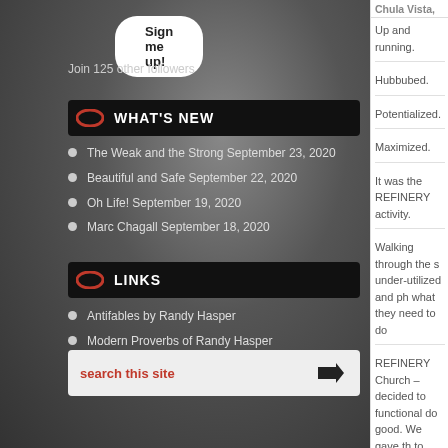Sign me up!
Join 125 other followers
WHAT'S NEW
The Weak and the Strong September 23, 2020
Beautiful and Safe September 22, 2020
Oh Life! September 19, 2020
Marc Chagall September 18, 2020
LINKS
Antifables by Randy Hasper
Modern Proverbs of Randy Hasper
Modern Soliloquies of Randy Hasper
Twitter
search this site
Chula Vista,
Up and running.
Hubbubed.
Potentialized.
Maximized.
It was the REFINERY activity.
Walking through the s under-utilized and ph what they need to do
REFINERY Church – decided to functional do good. We gave th to come here and do